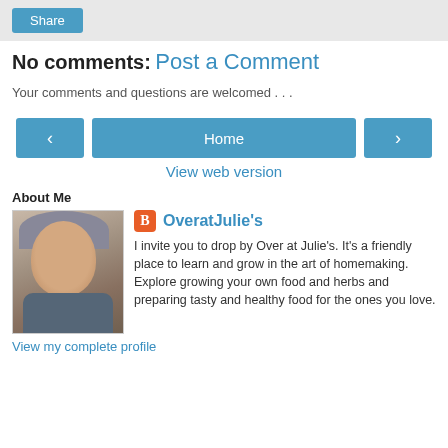Share
No comments:
Post a Comment
Your comments and questions are welcomed . . .
‹   Home   ›
View web version
About Me
[Figure (photo): Profile photo of OveratJulie's, a woman with short grey hair]
OveratJulie's
I invite you to drop by Over at Julie's. It's a friendly place to learn and grow in the art of homemaking. Explore growing your own food and herbs and preparing tasty and healthy food for the ones you love.
View my complete profile